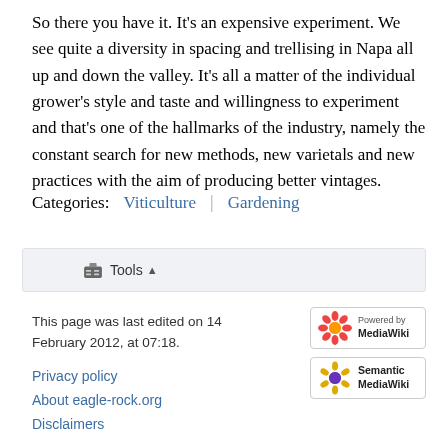So there you have it. It's an expensive experiment. We see quite a diversity in spacing and trellising in Napa all up and down the valley. It's all a matter of the individual grower's style and taste and willingness to experiment and that's one of the hallmarks of the industry, namely the constant search for new methods, new varietals and new practices with the aim of producing better vintages.
Categories:  Viticulture  |  Gardening
Tools ▲
This page was last edited on 14 February 2012, at 07:18.
Privacy policy
About eagle-rock.org
Disclaimers
[Figure (logo): Powered by MediaWiki badge]
[Figure (logo): Semantic MediaWiki badge]